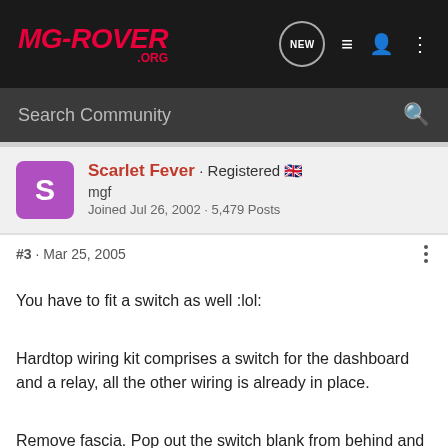MG-ROVER.ORG · NEW
Search Community
Scarlet Fever · Registered 🇬🇧
mgf
Joined Jul 26, 2002 · 5,479 Posts
#3 · Mar 25, 2005
You have to fit a switch as well :lol:
Hardtop wiring kit comprises a switch for the dashboard and a relay, all the other wiring is already in place.
Remove fascia. Pop out the switch blank from behind and insert new switch. Find multiplug (it'll be loose behind the fascia) and connect. Open fuse box cover and inspect the relays on the far right hand side. Should be 2 relays fitted and a space at the bottom for this one, or so on, as in the rover guide...